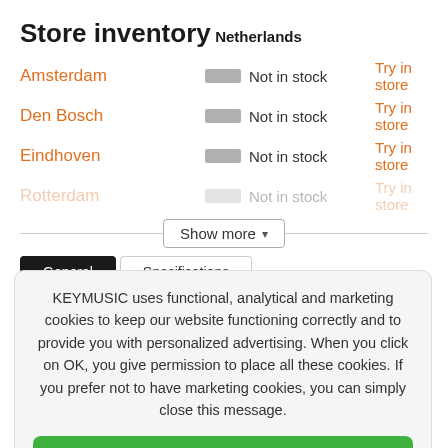Store inventory
Netherlands
Amsterdam — Not in stock — Try in store
Den Bosch — Not in stock — Try in store
Eindhoven — Not in stock — Try in store
Rotterdam — Not in stock — Try in store
Show more
General | Specifications
KEYMUSIC uses functional, analytical and marketing cookies to keep our website functioning correctly and to provide you with personalized advertising. When you click on OK, you give permission to place all these cookies. If you prefer not to have marketing cookies, you can simply close this message.
OK
Close